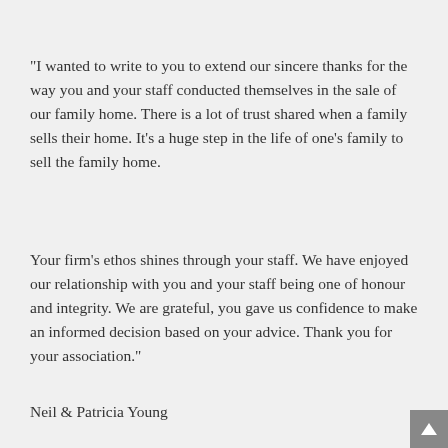"I wanted to write to you to extend our sincere thanks for the way you and your staff conducted themselves in the sale of our family home. There is a lot of trust shared when a family sells their home. It's a huge step in the life of one's family to sell the family home.
Your firm's ethos shines through your staff. We have enjoyed our relationship with you and your staff being one of honour and integrity. We are grateful, you gave us confidence to make an informed decision based on your advice. Thank you for your association."
Neil & Patricia Young